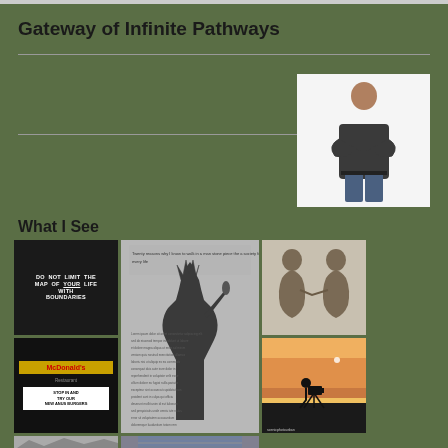Gateway of Infinite Pathways
[Figure (photo): Portrait photo of a man in dark shirt with arms crossed, white background]
What I See
[Figure (infographic): Grid of 6 photos: motivational sign reading DO NOT LIMIT THE MAP OF YOUR LIFE WITH BOUNDARIES, McDonald's restaurant sign at night, Statue of Liberty silhouette with text overlay, two Thinker bronze statues facing each other, photographer silhouette at sunset, close-up abstract image, mountains silhouette at bottom-left]